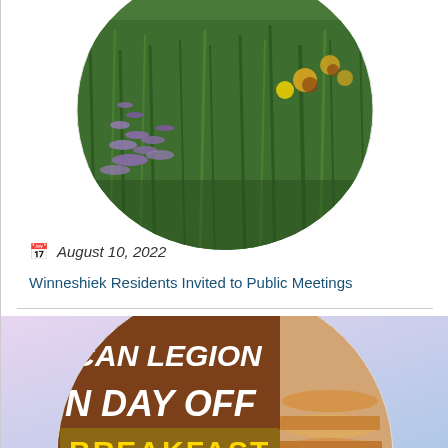[Figure (photo): Circular photo of wildflowers and tall green grass with purple wildflowers (liatris) and yellow flowers in background]
August 10, 2022
Winneshiek Residents Invited to Public Meetings
[Figure (photo): Circular photo showing American Legion Labor Day Off Breakfast event sign with text: ICAN LEGION, N DAY OFF, BREAKFAST, Main Street, August 20, 2022, am — overlaid on image of pancakes]